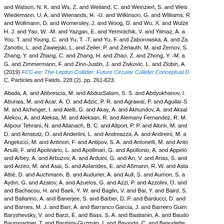and Watson, N. K. and Ws, Z. and Weiland, C. and Weinzierl, S. and Weis... Wiedemann, U. A. and Wienands, H. -U. and Wilkinson, G. and Williams, R... and Wollmann, D. and Womersley, J. and Woog, D. and Wu, X. and Wulze... H. J. and Yao, W. -M. and Yazgan, E. and Yermolchik, V. and Yilmaz, A. a... You, T. and Young, C. and Yu, T. -T. and Yu, F. and Zaborowska, A. and Za... Zanotto, L. and Zawiejski, L. and Zeiler, P. and Zerlauth, M. and Zernov, S... Zhang, Y. and Zhang, C. and Zhang, H. and Zhao, Z. and Zhong, Y. -M. a... G. and Zimmermann, F. and Zinn-Justin, J. and Zivkovic, L. and Zlobin, A. (2019) FCC-ee: The Lepton Collider: Future Circular Collider Conceptual D... C. Particles and Fields, 228 (2). pp. 261-623.
Abada, A. and Abbrescia, M. and AbdusSalam, S. S. and Abdyukhanov, I. Aburaia, M. and Acar, A. O. and Adzic, P. R. and Agrawal, P. and Aguilar-S M. and Aichinger, I. and Aielli, G. and Akay, A. and Akhundov, A. and Aksak Alekou, A. and Aleksa, M. and Aleksan, R. and Alemany Fernandez, R. M. Alipour Tehrani, N. and Allanach, B. C. and Allport, P. P. and Altınlı, M. and D. and Amstutz, O. and Anderlini, L. and Andreazza, A. and Andreini, M. a... Angelucci, M. and Antinori, F. and Antipov, S. A. and Antonelli, M. and Anto... Anulli, F. and Apolinário, L. and Apollinari, G. and Apollonio, A. and Appelö... and Arbey, A. and Arbuzov, A. and Arduini, G. and Arı, V. and Arias, S. and and Arzeo, M. and Asai, S. and Aslanides, E. and Aßmann, R. W. and Asta... Attié, D. and Auchmann, B. and Audurier, A. and Aull, S. and Aumon, S. a... Aydın, G. and Azatov, A. and Azuelos, G. and Azzi, P. and Azzolini, O. and and Bachacou, H. and Baek, Y. W. and Baglin, V. and Bai, Y. and Baird, S. and Ballarino, A. and Banerjee, S. and Barber, D. P. and Barducci, D. and and Barnes, M. J. and Barr, A. and Barranco García, J. and Barreiro Guim... Baryshevsky, V. and Barzi, E. and Bass, S. A. and Bastianin, A. and Baudo... Baumgartner, T. and Bautista-Guzmán, I. and Bayındır, C. and Beaudette, and Bellagamba, L. and Bellegarde, N. and Belli, E. and Bellingeri, E. and and Bencivenni, G. and Benedikt, M. and Bernardi, G. and Bernardi, J. and and Berninard, S. and Bertarelli, A. and Bertolucci, S. and Bertone, M. a...